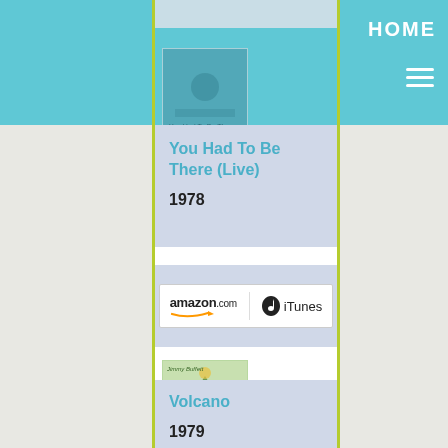HOME
[Figure (photo): Album cover thumbnail for You Had To Be There (Live) - teal/blue toned concert photo]
You Had To Be There (Live)
1978
[Figure (logo): Amazon.com and iTunes purchase links inside a bordered box]
[Figure (photo): Album cover thumbnail for Volcano - green tropical themed artwork with Jimmy Buffett text]
Volcano
1979